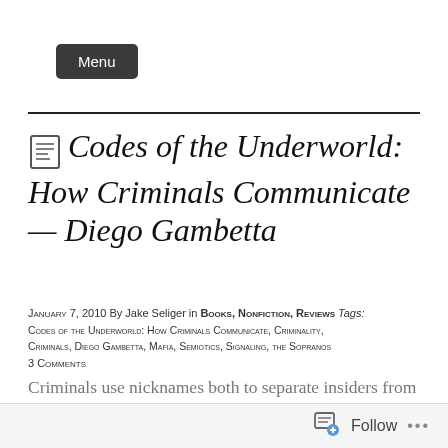Menu
Codes of the Underworld: How Criminals Communicate — Diego Gambetta
January 7, 2010  By Jake Seliger  in Books, Nonfiction, Reviews  Tags: Codes of the Underworld: How Criminals Communicate, Criminality, Criminals, Diego Gambetta, Mafia, Semiotics, Signaling, the Sopranos  3 Comments
Criminals use nicknames both to separate insiders from outsiders and to stymie potential investigations into their activities (which is itself a form of stonewalling outsiders). They use violence strategically rather than randomly, and prefer to send hard-to-fake signals about
Follow ...